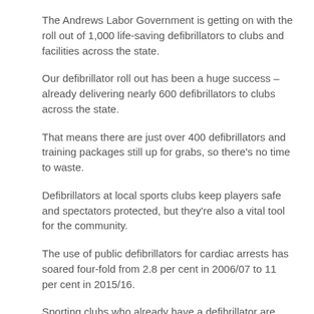The Andrews Labor Government is getting on with the roll out of 1,000 life-saving defibrillators to clubs and facilities across the state.
Our defibrillator roll out has been a huge success – already delivering nearly 600 defibrillators to clubs across the state.
That means there are just over 400 defibrillators and training packages still up for grabs, so there's no time to waste.
Defibrillators at local sports clubs keep players safe and spectators protected, but they're also a vital tool for the community.
The use of public defibrillators for cardiac arrests has soared four-fold from 2.8 per cent in 2006/07 to 11 per cent in 2015/16.
Sporting clubs who already have a defibrillator are encouraged to register them with Ambulance Victoria. For more information or to apply online visit www.sport.vic.gov.au.